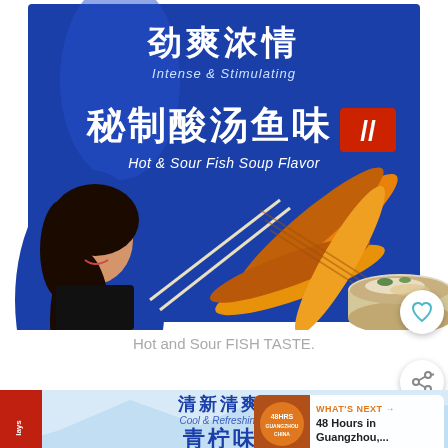[Figure (photo): A blue chip bag with Chinese text reading 劲爽浓情 (Intense & Stimulating) and 秘制酸汤鱼味 (Hot & Sour Fish Soup Flavor), featuring a woman and a bowl of soup with chips and chopsticks]
Hot and Sour FISH TASTE.
[Figure (photo): Second chip bag partially visible with Chinese text 清新清爽 (Cool & Refreshing) and partially visible 青柠味, with a WHAT'S NEXT overlay showing '48 Hours in Guangzhou,...']